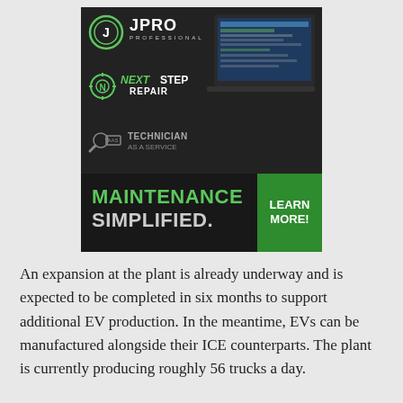[Figure (illustration): Advertisement for JPRO Professional, NextStep Repair, and Technician as a Service products. Dark background with laptop screenshot on right. Bottom banner reads 'MAINTENANCE SIMPLIFIED.' in green and white with a green 'LEARN MORE!' button.]
An expansion at the plant is already underway and is expected to be completed in six months to support additional EV production. In the meantime, EVs can be manufactured alongside their ICE counterparts. The plant is currently producing roughly 56 trucks a day.